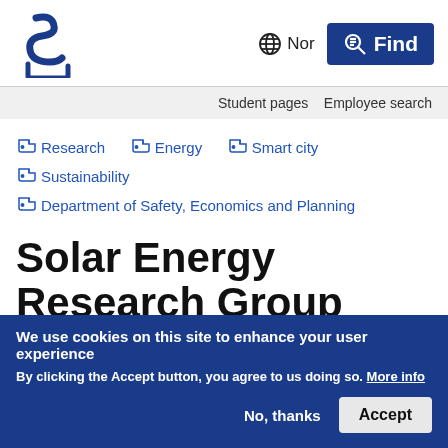[Figure (logo): University of Stavanger (UiS) logo — stylized S and U letters in dark blue]
Nor   Find
Student pages   Employee search
Research
Energy
Smart city
Sustainability
Department of Safety, Economics and Planning
Solar Energy Research Group
We use cookies on this site to enhance your user experience
By clicking the Accept button, you agree to us doing so. More info
No, thanks   Accept